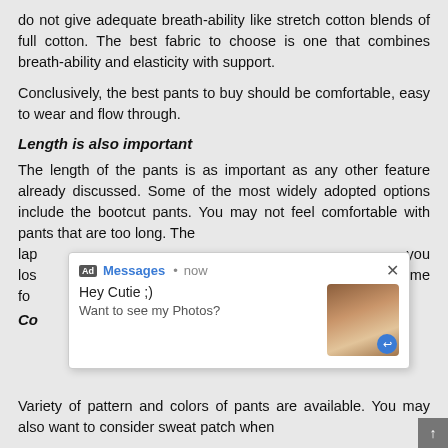do not give adequate breath-ability like stretch cotton blends of full cotton. The best fabric to choose is one that combines breath-ability and elasticity with support.
Conclusively, the best pants to buy should be comfortable, easy to wear and flow through.
Length is also important
The length of the pants is as important as any other feature already discussed. Some of the most widely adopted options include the bootcut pants. You may not feel comfortable with pants that are too long. The lap... you los... me fo...
[Figure (screenshot): Ad notification overlay popup: Ad label, Messages • now, Hey Cutie ;) Want to see my Photos?, with a photo thumbnail and close button X]
Variety of pattern and colors of pants are available. You may also want to consider sweat patch when